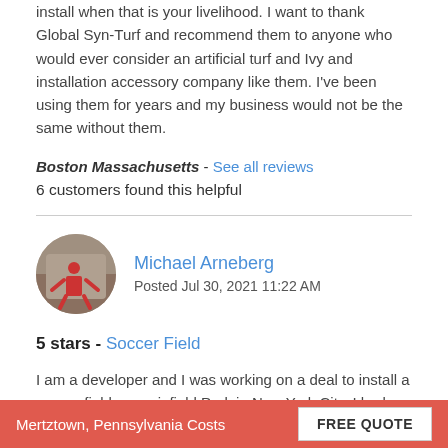install when that is your livelihood. I want to thank Global Syn-Turf and recommend them to anyone who would ever consider an artificial turf and Ivy and installation accessory company like them. I've been using them for years and my business would not be the same without them.
Boston Massachusetts - See all reviews
6 customers found this helpful
Michael Arneberg
Posted Jul 30, 2021 11:22 AM
5 stars - Soccer Field
I am a developer and I was working on a deal to install a soccer field on an infield Park in New York City. I had a very difficult time finding a contractor and a turf company to help me complete this project. I called dozens and dozens of Manufacturers and installers
Mertztown, Pennsylvania Costs   FREE QUOTE